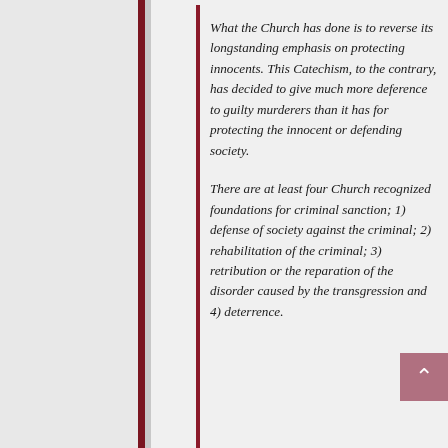What the Church has done is to reverse its longstanding emphasis on protecting innocents. This Catechism, to the contrary, has decided to give much more deference to guilty murderers than it has for protecting the innocent or defending society.
There are at least four Church recognized foundations for criminal sanction; 1) defense of society against the criminal; 2) rehabilitation of the criminal; 3) retribution or the reparation of the disorder caused by the transgression and 4) deterrence.